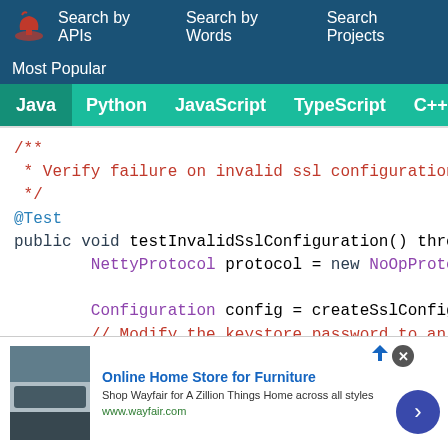Search by APIs  Search by Words  Search Projects  Most Popular
Java  Python  JavaScript  TypeScript  C++  Scala
/**
 * Verify failure on invalid ssl configuration.
 */
@Test
public void testInvalidSslConfiguration() throws Exc
        NettyProtocol protocol = new NoOpProtocol();

        Configuration config = createSslConfig();
        // Modify the keystore password to an incorr
        config.setString(SecurityOptions.SSL_INTERNA

        NettyConfig nettyConfig = createNettyConfig(
[Figure (screenshot): Advertisement banner for Wayfair: Online Home Store for Furniture. Shows furniture image on left, ad text in center, close button and arrow button on right.]